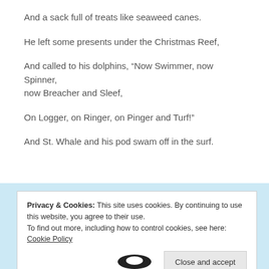And a sack full of treats like seaweed canes.
He left some presents under the Christmas Reef,
And called to his dolphins, “Now Swimmer, now Spinner, now Breacher and Sleef,
On Logger, on Ringer, on Pinger and Turf!”
And St. Whale and his pod swam off in the surf.
Privacy & Cookies: This site uses cookies. By continuing to use this website, you agree to their use.
To find out more, including how to control cookies, see here: Cookie Policy
Close and accept